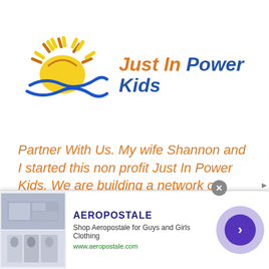[Figure (logo): Just In Power Kids logo: sun illustration with blue swirl/wave below, orange and blue text reading 'Just In Power Kids']
Partner With Us. My wife Shannon and I started this non profit Just In Power Kids. We are building a network of Integrated Wellness
[Figure (screenshot): Aeropostale advertisement banner: Shop Aeropostale for Guys and Girls Clothing, www.aeropostale.com, with clothing images and a blue arrow button]